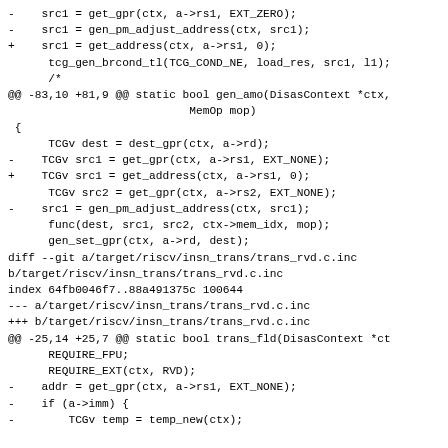-    src1 = get_gpr(ctx, a->rs1, EXT_ZERO);
-    src1 = gen_pm_adjust_address(ctx, src1);
+    src1 = get_address(ctx, a->rs1, 0);
     tcg_gen_brcond_tl(TCG_COND_NE, load_res, src1, l1);

     /*
@@ -83,10 +81,9 @@ static bool gen_amo(DisasContext *ctx,
                          MemOp mop)
 {
     TCGv dest = dest_gpr(ctx, a->rd);
-    TCGv src1 = get_gpr(ctx, a->rs1, EXT_NONE);
+    TCGv src1 = get_address(ctx, a->rs1, 0);
     TCGv src2 = get_gpr(ctx, a->rs2, EXT_NONE);

-    src1 = gen_pm_adjust_address(ctx, src1);
     func(dest, src1, src2, ctx->mem_idx, mop);

     gen_set_gpr(ctx, a->rd, dest);
diff --git a/target/riscv/insn_trans/trans_rvd.c.inc b/target/riscv/insn_trans/trans_rvd.c.inc
index 64fb0046f7..88a491375c 100644
--- a/target/riscv/insn_trans/trans_rvd.c.inc
+++ b/target/riscv/insn_trans/trans_rvd.c.inc
@@ -25,14 +25,7 @@ static bool trans_fld(DisasContext *ct
     REQUIRE_FPU;
     REQUIRE_EXT(ctx, RVD);

-    addr = get_gpr(ctx, a->rs1, EXT_NONE);
-    if (a->imm) {
-        TCGv temp = temp_new(ctx);